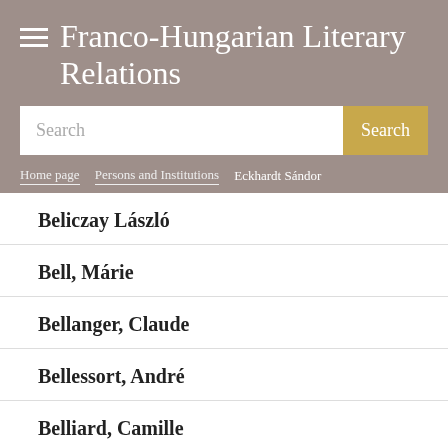Franco-Hungarian Literary Relations
Search
Home page > Persons and Institutions > Eckhardt Sándor
Beliczay László
Bell, Márie
Bellanger, Claude
Bellessort, André
Belliard, Camille